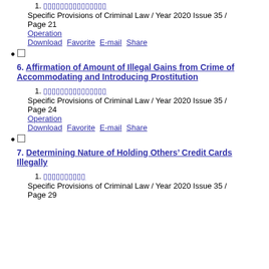1. [Chinese characters] Specific Provisions of Criminal Law / Year 2020 Issue 35 / Page 21 Operation Download Favorite E-mail Share
6. Affirmation of Amount of Illegal Gains from Crime of Accommodating and Introducing Prostitution
1. [Chinese characters] Specific Provisions of Criminal Law / Year 2020 Issue 35 / Page 24 Operation Download Favorite E-mail Share
7. Determining Nature of Holding Others' Credit Cards Illegally
1. [Chinese characters] Specific Provisions of Criminal Law / Year 2020 Issue 35 / Page 29